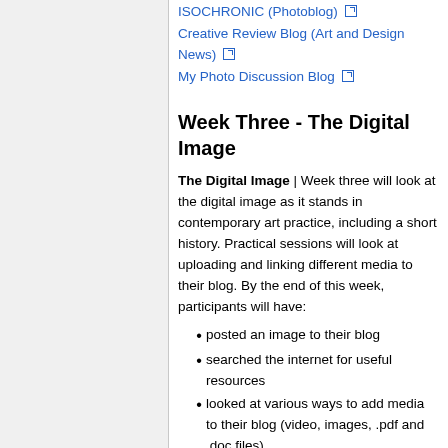ISOCHRONIC (Photoblog)
Creative Review Blog (Art and Design News)
My Photo Discussion Blog
Week Three - The Digital Image
The Digital Image | Week three will look at the digital image as it stands in contemporary art practice, including a short history. Practical sessions will look at uploading and linking different media to their blog. By the end of this week, participants will have:
posted an image to their blog
searched the internet for useful resources
looked at various ways to add media to their blog (video, images, .pdf and .doc files)